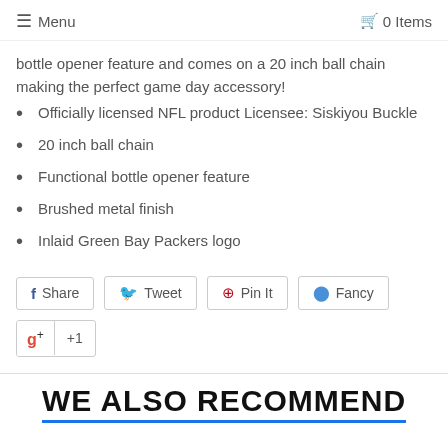≡ Menu  🛒 0 Items
bottle opener feature and comes on a 20 inch ball chain making the perfect game day accessory!
Officially licensed NFL product Licensee: Siskiyou Buckle
20 inch ball chain
Functional bottle opener feature
Brushed metal finish
Inlaid Green Bay Packers logo
Share  Tweet  Pin It  Fancy  g+1
WE ALSO RECOMMEND